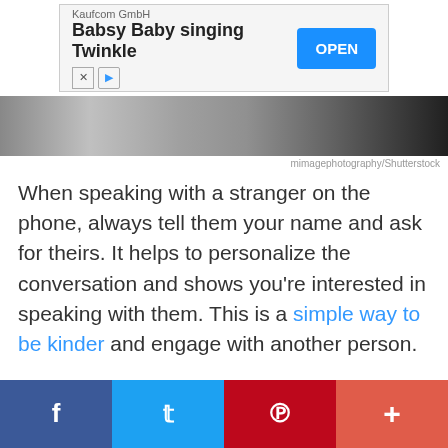[Figure (screenshot): Advertisement banner for Kaufcom GmbH - Babsy Baby singing Twinkle app with OPEN button]
[Figure (photo): Partial photo strip showing people, credited to mimagephotography/Shutterstock]
mimagephotography/Shutterstock
When speaking with a stranger on the phone, always tell them your name and ask for theirs. It helps to personalize the conversation and shows you're interested in speaking with them. This is a simple way to be kinder and engage with another person.
[Figure (infographic): Social sharing bar with Facebook, Twitter, Pinterest, and More buttons]